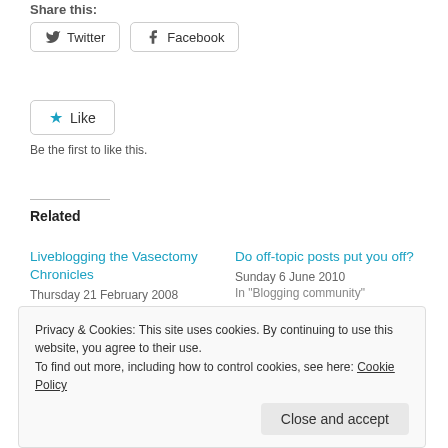Share this:
[Figure (other): Twitter and Facebook social sharing buttons]
[Figure (other): Like button with star icon]
Be the first to like this.
Related
Liveblogging the Vasectomy Chronicles
Thursday 21 February 2008
In "Blogging community"
Do off-topic posts put you off?
Sunday 6 June 2010
In "Blogging community"
Science Blogger Panel in
Privacy & Cookies: This site uses cookies. By continuing to use this website, you agree to their use.
To find out more, including how to control cookies, see here: Cookie Policy
Close and accept